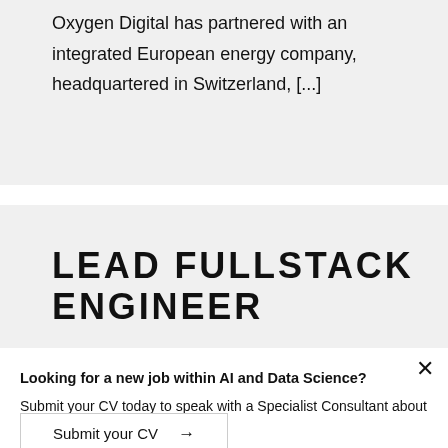Oxygen Digital has partnered with an integrated European energy company, headquartered in Switzerland, [...]
LEAD FULLSTACK ENGINEER
Looking for a new job within AI and Data Science?
Submit your CV today to speak with a Specialist Consultant about current opportunities.
Submit your CV →